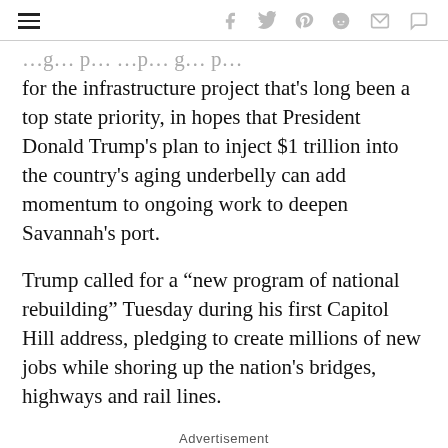navigation bar with hamburger menu and social icons (f, twitter, pinterest, reddit, mail, comment)
for the infrastructure project that’s long been a top state priority, in hopes that President Donald Trump’s plan to inject $1 trillion into the country’s aging underbelly can add momentum to ongoing work to deepen Savannah’s port.
Trump called for a “new program of national rebuilding” Tuesday during his first Capitol Hill address, pledging to create millions of new jobs while shoring up the nation’s bridges, highways and rail lines.
Advertisement
[Figure (photo): Advertisement banner showing a baseball and a Braves Report badge on a dark background]